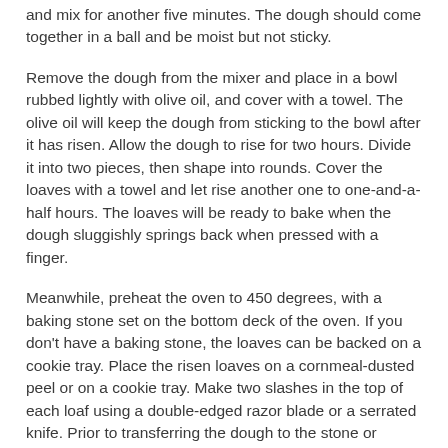and mix for another five minutes. The dough should come together in a ball and be moist but not sticky.
Remove the dough from the mixer and place in a bowl rubbed lightly with olive oil, and cover with a towel. The olive oil will keep the dough from sticking to the bowl after it has risen. Allow the dough to rise for two hours. Divide it into two pieces, then shape into rounds. Cover the loaves with a towel and let rise another one to one-and-a-half hours. The loaves will be ready to bake when the dough sluggishly springs back when pressed with a finger.
Meanwhile, preheat the oven to 450 degrees, with a baking stone set on the bottom deck of the oven. If you don't have a baking stone, the loaves can be backed on a cookie tray. Place the risen loaves on a cornmeal-dusted peel or on a cookie tray. Make two slashes in the top of each loaf using a double-edged razor blade or a serrated knife. Prior to transferring the dough to the stone or placing the loaves in the oven, you need to create steam to allow for a fuller loaf and shinier crust. Using a spray bottle filled with filtered water, open the oven door and spray inside the top and sides